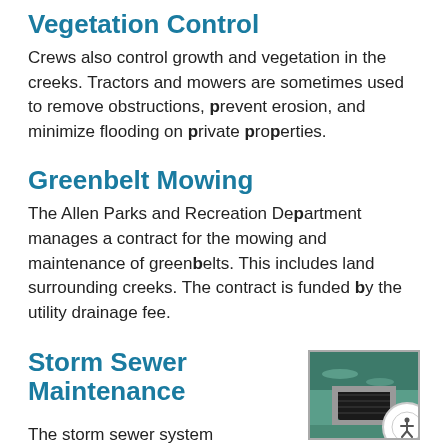Vegetation Control
Crews also control growth and vegetation in the creeks. Tractors and mowers are sometimes used to remove obstructions, prevent erosion, and minimize flooding on private properties.
Greenbelt Mowing
The Allen Parks and Recreation Department manages a contract for the mowing and maintenance of greenbelts. This includes land surrounding creeks. The contract is funded by the utility drainage fee.
Storm Sewer Maintenance
[Figure (photo): Photo of a storm sewer opening or drainage structure, with a blue-green background and dark rectangular drain opening. An accessibility icon (circle with human figure) is overlaid at the bottom right corner.]
The storm sewer system